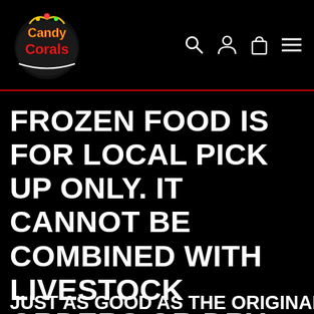Candy Corals [logo] Search Log in Cart Menu
FROZEN FOOD IS FOR LOCAL PICK UP ONLY. IT CANNOT BE COMBINED WITH LIVESTOCK ORDERS OR DRY GOOD ORDERS FOR SHIPPING. IF YOU WANT IT SHIPPED THERE IS A MINIMUM ORDER SIZE OF 9 PACKAGES, OTHERWISE IT WILL BE REFUNDED.
JUST AS GOOD AS THE ORIGINAL BUT IN A SMALLER